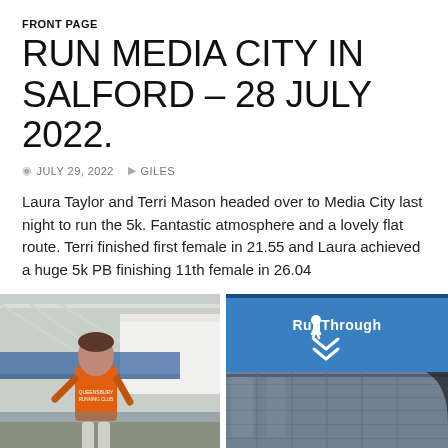FRONT PAGE
RUN MEDIA CITY IN SALFORD – 28 JULY 2022.
JULY 29, 2022   GILES
Laura Taylor and Terri Mason headed over to Media City last night to run the 5k. Fantastic atmosphere and a lovely flat route. Terri finished first female in 21.55 and Laura achieved a huge 5k PB finishing 11th female in 26.04
[Figure (photo): Runner wearing orange vest with a bridge and waterfront in the background]
[Figure (photo): RunThrough logo on a blue and glass building facade]